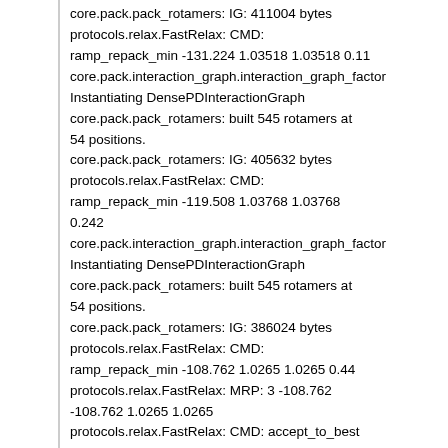core.pack.pack_rotamers: IG: 411004 bytes
protocols.relax.FastRelax: CMD: ramp_repack_min -131.224 1.03518 1.03518 0.11
core.pack.interaction_graph.interaction_graph_factor
Instantiating DensePDInteractionGraph
core.pack.pack_rotamers: built 561 rotamers at 54 positions.
core.pack.pack_rotamers: IG: 405632 bytes
protocols.relax.FastRelax: CMD: ramp_repack_min -119.508 1.03768 1.03768 0.242
core.pack.interaction_graph.interaction_graph_factor
Instantiating DensePDInteractionGraph
core.pack.pack_rotamers: built 545 rotamers at 54 positions.
core.pack.pack_rotamers: IG: 386024 bytes
protocols.relax.FastRelax: CMD: ramp_repack_min -108.762 1.0265 1.0265 0.44
protocols.relax.FastRelax: MRP: 3 -108.762 -108.762 1.0265 1.0265
protocols.relax.FastRelax: CMD: accept_to_best -108.762 1.0265 1.0265 0.44
protocols.relax.FastRelax: CMD: endrepeat